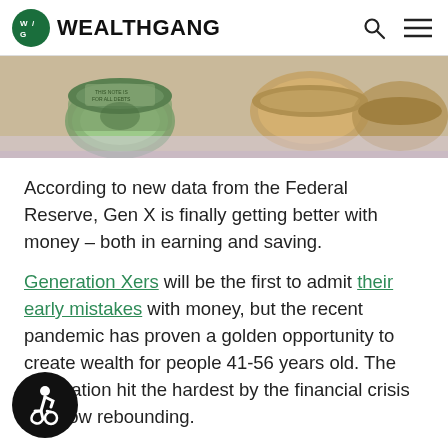WEALTHGANG
[Figure (photo): Close-up photo of rolled US dollar bills on a light surface]
According to new data from the Federal Reserve, Gen X is finally getting better with money – both in earning and saving.
Generation Xers will be the first to admit their early mistakes with money, but the recent pandemic has proven a golden opportunity to create wealth for people 41-56 years old. The generation hit the hardest by the financial crisis [of 200]8 is now rebounding.